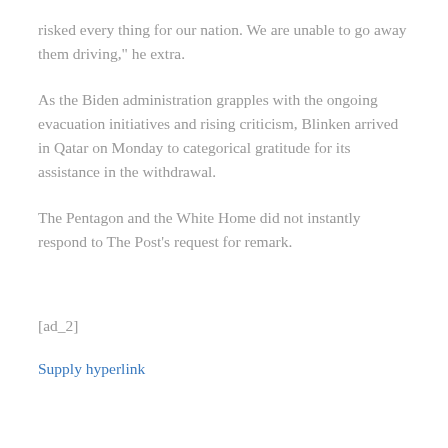risked every thing for our nation. We are unable to go away them driving," he extra.
As the Biden administration grapples with the ongoing evacuation initiatives and rising criticism, Blinken arrived in Qatar on Monday to categorical gratitude for its assistance in the withdrawal.
The Pentagon and the White Home did not instantly respond to The Post's request for remark.
[ad_2]
Supply hyperlink